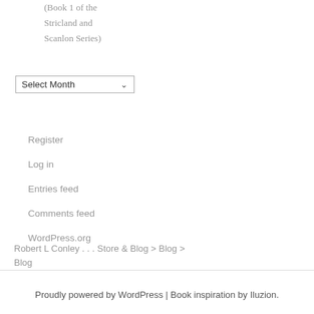(Book 1 of the Stricland and Scanlon Series)
[Figure (other): Select Month dropdown widget]
Register
Log in
Entries feed
Comments feed
WordPress.org
Robert L Conley . . . Store & Blog > Blog > Blog
Proudly powered by WordPress | Book inspiration by Iluzion.